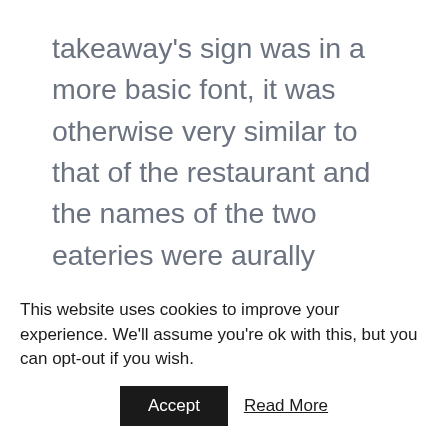takeaway's sign was in a more basic font, it was otherwise very similar to that of the restaurant and the names of the two eateries were aurally identical.
After the restaurant launched proceedings, the High Court noted that the takeaway's trade had little in common with that of the restaurant, which boasted Kate Moss, Tony Blair and Naomi Campbell amongst its clientele. The customers of the restaurant
This website uses cookies to improve your experience. We'll assume you're ok with this, but you can opt-out if you wish.
Accept  Read More